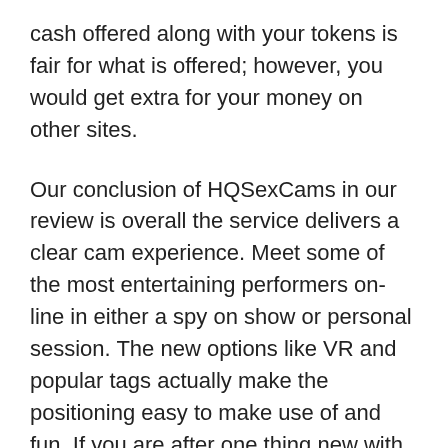cash offered along with your tokens is fair for what is offered; however, you would get extra for your money on other sites.
Our conclusion of HQSexCams in our review is overall the service delivers a clear cam experience. Meet some of the most entertaining performers on-line in either a spy on show or personal session. The new options like VR and popular tags actually make the positioning easy to make use of and fun. If you are after one thing new with a thrilling expertise then its price your time utilizing it. I needed to contact lawyers and Dmca, however I'm being asked to pay over $ 5,000. Now after all the time wasted emailing all of the sites, I had to write over 1,000 emails to get it destroyed. .I have knowledgeable you, help me, many times I actually have been polite patient, but you ignore me.